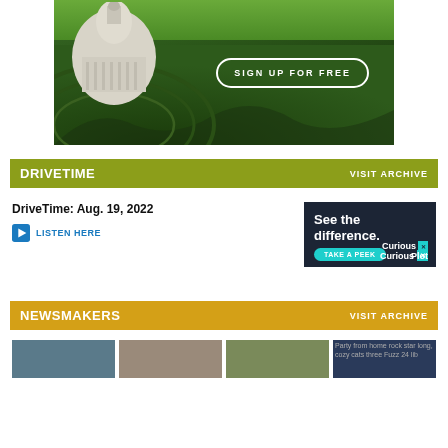[Figure (photo): Advertisement banner showing US Capitol building superimposed over green crop field rows, with 'SIGN UP FOR FREE' button]
DRIVETIME   VISIT ARCHIVE
DriveTime: Aug. 19, 2022
LISTEN HERE
[Figure (photo): Advertisement for CuriousPlot showing 'See the difference. TAKE A PEEK' text on dark background with CuriousPlot logo]
NEWSMAKERS   VISIT ARCHIVE
[Figure (photo): Row of thumbnail images for Newsmakers section]